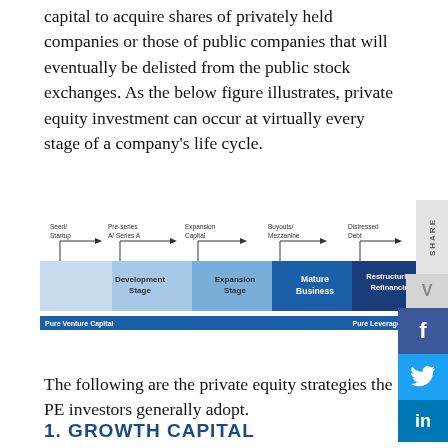capital to acquire shares of privately held companies or those of public companies that will eventually be delisted from the public stock exchanges. As the below figure illustrates, private equity investment can occur at virtually every stage of a company's life cycle.
[Figure (infographic): A horizontal arrow/chevron diagram showing stages of private equity investment across a company life cycle. Labels from left to right above: Seed/Startup, Pre-series A/Series A, Expansion Capital, Buyouts/Mezzanine, Distressed Debt. Chevron stages below: Development Stage, Expansion Stage, Mature Business (bold), Restructuring/Refinancing (bold). Bottom bar: Pure Venture Capital (left) to Pure Leveraged Buyouts (right).]
The following are the private equity strategies the PE investors generally adopt.
1. GROWTH CAPITAL